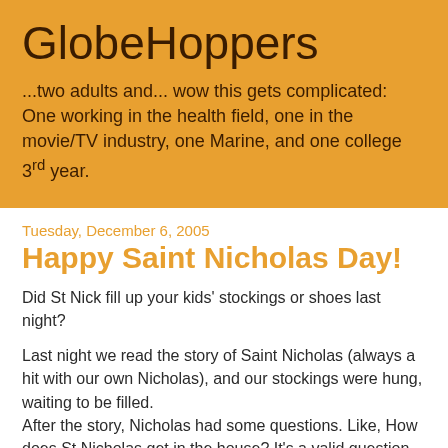GlobeHoppers
...two adults and... wow this gets complicated: One working in the health field, one in the movie/TV industry, one Marine, and one college 3rd year.
Tuesday, December 6, 2005
Happy Saint Nicholas Day!
Did St Nick fill up your kids' stockings or shoes last night?
Last night we read the story of Saint Nicholas (always a hit with our own Nicholas), and our stockings were hung, waiting to be filled.
After the story, Nicholas had some questions. Like, How does St Nicholas get in the house? It's a valid question. Our girls know who plays the role of St Nick and the Easter bunny and the tooth fairy, and in fact the boys know who plays everyone too, but for some reason Saint Nicholas is